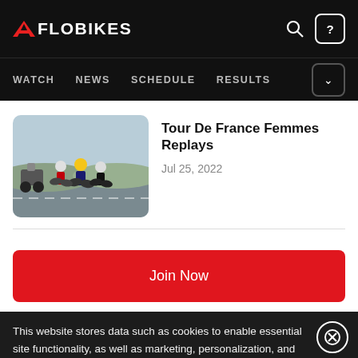FLOBIKES — WATCH NEWS SCHEDULE RESULTS
[Figure (photo): Thumbnail photo of cyclists racing in the Tour De France Femmes, with a motorcycle escort visible on the left.]
Tour De France Femmes Replays
Jul 25, 2022
Join Now
This website stores data such as cookies to enable essential site functionality, as well as marketing, personalization, and analytics. By remaining on this website you indicate your consent. Data Storage Policy